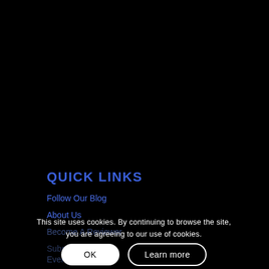QUICK LINKS
Follow Our Blog
About Us
Become A Reviewer
Submit Reviews
Events
This site uses cookies. By continuing to browse the site, you are agreeing to our use of cookies.
OK
Learn more